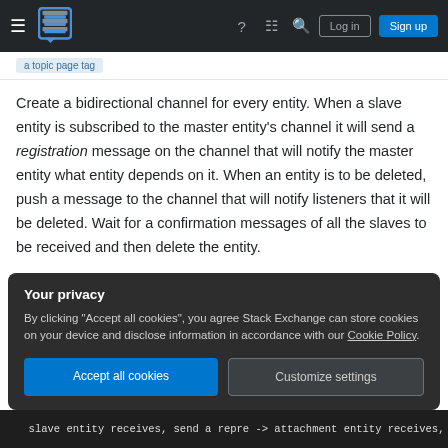Stack Exchange navigation bar with Log in and Sign up buttons
Create a bidirectional channel for every entity. When a slave entity is subscribed to the master entity's channel it will send a registration message on the channel that will notify the master entity what entity depends on it. When an entity is to be deleted, push a message to the channel that will notify listeners that it will be deleted. Wait for a confirmation messages of all the slaves to be received and then delete the entity.
Your privacy
By clicking "Accept all cookies", you agree Stack Exchange can store cookies on your device and disclose information in accordance with our Cookie Policy.
Accept all cookies   Customize settings
slave entity receives, send a repre -> attachment entity receives, delete